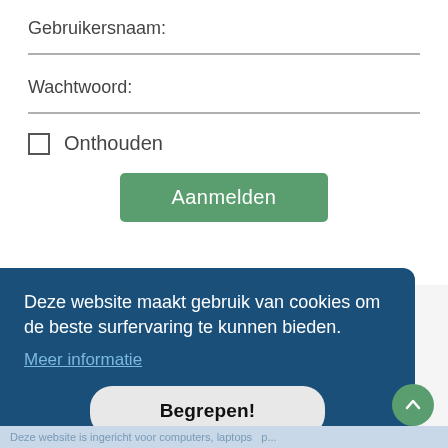Gebruikersnaam:
Wachtwoord:
Onthouden
Aanmelden
Deze website maakt gebruik van cookies om de beste surfervaring te kunnen bieden.
Meer informatie
Begrepen!